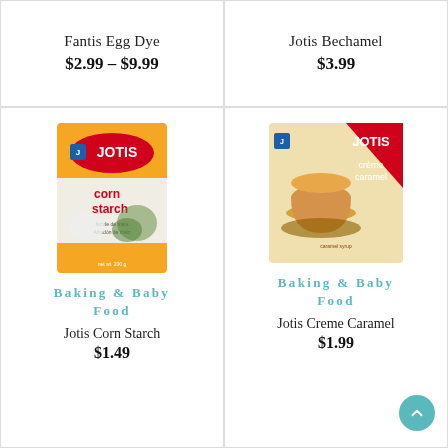Fantis Egg Dye
$2.99 – $9.99
Jotis Bechamel
$3.99
[Figure (photo): Jotis Corn Starch product box - yellow/orange box with JOTIS branding and image of corn starch usage]
Baking & Baby Food
Jotis Corn Starch
$1.49
[Figure (photo): Jotis Creme Caramel product box - beige/red box with JOTIS branding and image of caramel pudding]
Baking & Baby Food
Jotis Creme Caramel
$1.99